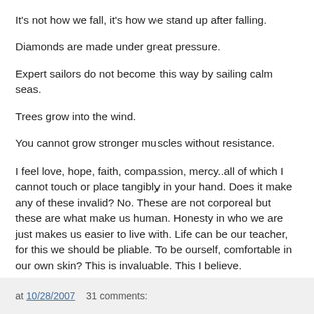It's not how we fall, it's how we stand up after falling.
Diamonds are made under great pressure.
Expert sailors do not become this way by sailing calm seas.
Trees grow into the wind.
You cannot grow stronger muscles without resistance.
I feel love, hope, faith, compassion, mercy..all of which I cannot touch or place tangibly in your hand. Does it make any of these invalid? No. These are not corporeal but these are what make us human. Honesty in who we are just makes us easier to live with. Life can be our teacher, for this we should be pliable. To be ourself, comfortable in our own skin? This is invaluable. This I believe.
at 10/28/2007    31 comments: